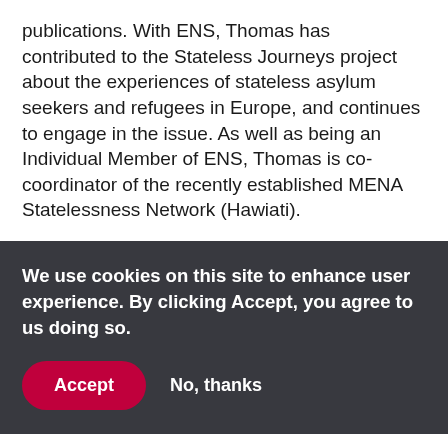publications. With ENS, Thomas has contributed to the Stateless Journeys project about the experiences of stateless asylum seekers and refugees in Europe, and continues to engage in the issue. As well as being an Individual Member of ENS, Thomas is co-coordinator of the recently established MENA Statelessness Network (Hawiati).
We use cookies on this site to enhance user experience. By clicking Accept, you agree to us doing so.
Accept
No, thanks